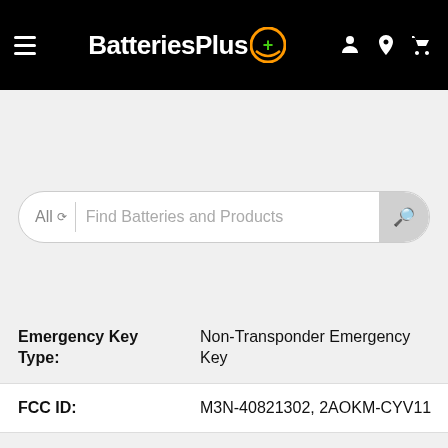BatteriesPlus — Navigation bar with hamburger menu, logo, and cart/account/location icons
All   Find Batteries and Products
| Attribute | Value |
| --- | --- |
| Emergency Key Type: | Non-Transponder Emergency Key |
| FCC ID: | M3N-40821302, 2AOKM-CYV11 |
| Frequency (MHz): | 434 |
| Hazmat ID Number: | UN3091 |
| Key Fob: | True |
| Keyway: | Y159 |
| Lithium Content In Grams Per Cell: | 0.06 |